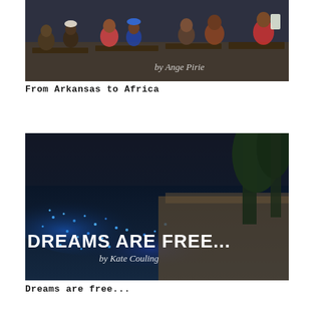[Figure (photo): Photo of children sitting in church pews in Africa, with the text 'by Ange Pirie' overlaid in italic script at the bottom right]
From Arkansas to Africa
[Figure (photo): Night photo of a bioluminescent beach with glowing blue light on the waves and sand, trees in the background. Text overlay reads 'DREAMS ARE FREE...' in bold white and 'by Kate Couling' in italic below.]
Dreams are free...